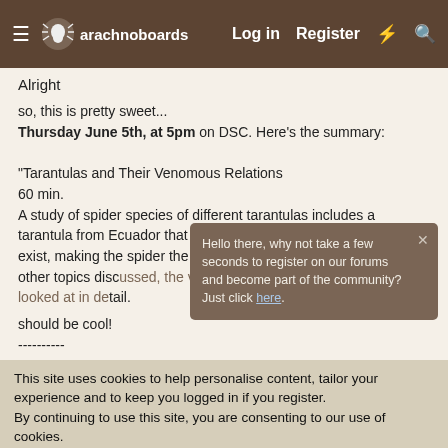arachnoboards — Log in  Register
Alright
so, this is pretty sweet...
Thursday June 5th, at 5pm on DSC. Here's the summary:

"Tarantulas and Their Venomous Relations
60 min.
A study of spider species of different tarantulas includes a tarantula from Ecuador that is the only living example known to exist, making the spider the rarest animal in the world. Among other topics discussed, the venom of the tarantula venom will be looked at in detail.

should be cool!
----------
[Figure (screenshot): Popup dialog: 'Hello there, why not take a few seconds to register on our forums and become part of the community? Just click here.']
This site uses cookies to help personalise content, tailor your experience and to keep you logged in if you register.
By continuing to use this site, you are consenting to our use of cookies.